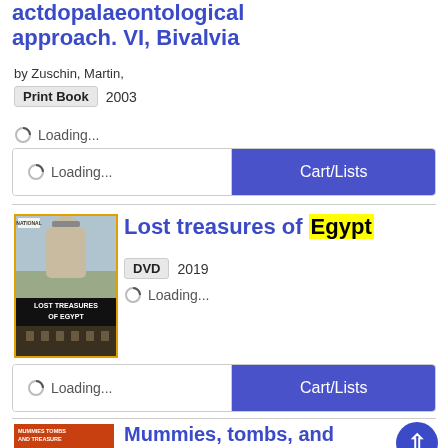actdopalaeontological approach. VI, Bivalvia
by Zuschin, Martin,
Print Book  2003
Loading...
Loading...   Cart/Lists
Lost treasures of Egypt
DVD  2019
Loading...
[Figure (photo): DVD cover for Lost Treasures of Egypt showing Egyptian statue and hieroglyphs with yellow border]
Loading...   Cart/Lists
Mummies, tombs, and treasure : secrets of Ancie...
[Figure (photo): Book cover for Mummies, Tombs and Treasure: Secrets of Ancient Egypt with orange/red background]